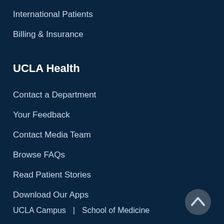International Patients
Billing & Insurance
UCLA Health
Contact a Department
Your Feedback
Contact Media Team
Browse FAQs
Read Patient Stories
Download Our Apps
UCLA Campus  |  School of Medicine